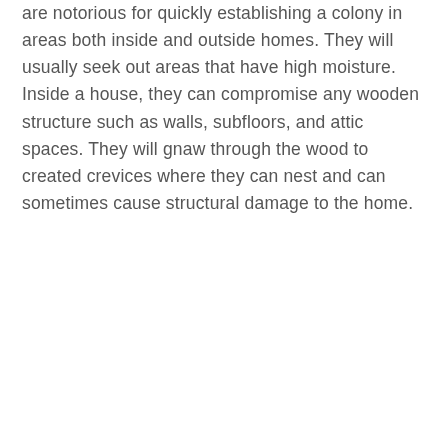are notorious for quickly establishing a colony in areas both inside and outside homes. They will usually seek out areas that have high moisture. Inside a house, they can compromise any wooden structure such as walls, subfloors, and attic spaces. They will gnaw through the wood to created crevices where they can nest and can sometimes cause structural damage to the home.